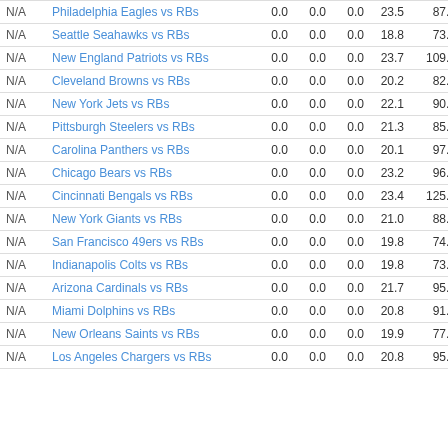|  | Name | Col1 | Col2 | Col3 | Col4 | Col5 |
| --- | --- | --- | --- | --- | --- | --- |
| N/A | Philadelphia Eagles vs RBs | 0.0 | 0.0 | 0.0 | 23.5 | 87.1 |
| N/A | Seattle Seahawks vs RBs | 0.0 | 0.0 | 0.0 | 18.8 | 73.5 |
| N/A | New England Patriots vs RBs | 0.0 | 0.0 | 0.0 | 23.7 | 109.8 |
| N/A | Cleveland Browns vs RBs | 0.0 | 0.0 | 0.0 | 20.2 | 82.4 |
| N/A | New York Jets vs RBs | 0.0 | 0.0 | 0.0 | 22.1 | 90.5 |
| N/A | Pittsburgh Steelers vs RBs | 0.0 | 0.0 | 0.0 | 21.3 | 85.3 |
| N/A | Carolina Panthers vs RBs | 0.0 | 0.0 | 0.0 | 20.1 | 97.6 |
| N/A | Chicago Bears vs RBs | 0.0 | 0.0 | 0.0 | 23.2 | 96.6 |
| N/A | Cincinnati Bengals vs RBs | 0.0 | 0.0 | 0.0 | 23.4 | 125.1 |
| N/A | New York Giants vs RBs | 0.0 | 0.0 | 0.0 | 21.0 | 88.6 |
| N/A | San Francisco 49ers vs RBs | 0.0 | 0.0 | 0.0 | 19.8 | 74.0 |
| N/A | Indianapolis Colts vs RBs | 0.0 | 0.0 | 0.0 | 19.8 | 73.4 |
| N/A | Arizona Cardinals vs RBs | 0.0 | 0.0 | 0.0 | 21.7 | 95.3 |
| N/A | Miami Dolphins vs RBs | 0.0 | 0.0 | 0.0 | 20.8 | 91.9 |
| N/A | New Orleans Saints vs RBs | 0.0 | 0.0 | 0.0 | 19.9 | 77.0 |
| N/A | Los Angeles Chargers vs RBs | 0.0 | 0.0 | 0.0 | 20.8 | 95.3 |